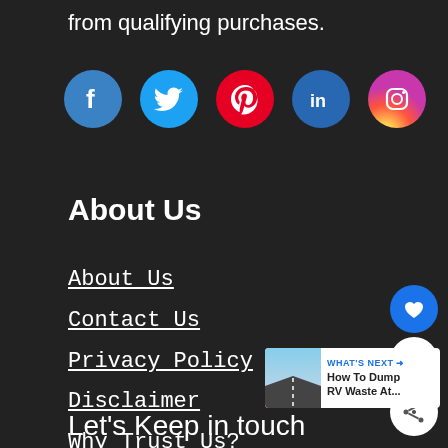from qualifying purchases.
[Figure (infographic): Row of 5 social media icon circles: Facebook (blue), Twitter (light blue), Pinterest (red), LinkedIn (dark blue), Instagram (pink/magenta)]
About Us
About Us
Contact Us
Privacy Policy
Disclaimer
Why Trust Us?
[Figure (infographic): Heart like button (blue circle), share count bubble (white circle with '1'), share button (white circle with share icon), and 'What's Next' banner showing road image with text 'How To Dump RV Waste At...']
Let's Keep in touch